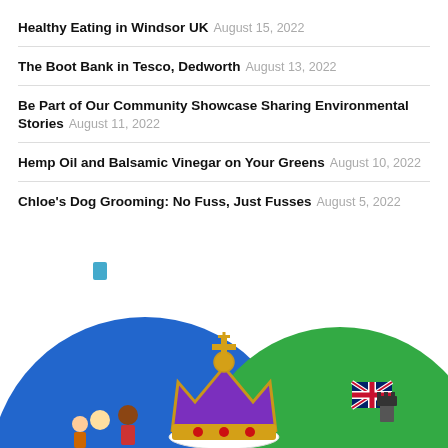Healthy Eating in Windsor UK August 15, 2022
The Boot Bank in Tesco, Dedworth August 13, 2022
Be Part of Our Community Showcase Sharing Environmental Stories August 11, 2022
Hemp Oil and Balsamic Vinegar on Your Greens August 10, 2022
Chloe's Dog Grooming: No Fuss, Just Fusses August 5, 2022
[Figure (illustration): Illustration showing two overlapping circles (blue on left, green on right) with a royal crown in the center, cartoon people in the blue circle, and a UK flag with a castle figure in the green circle.]